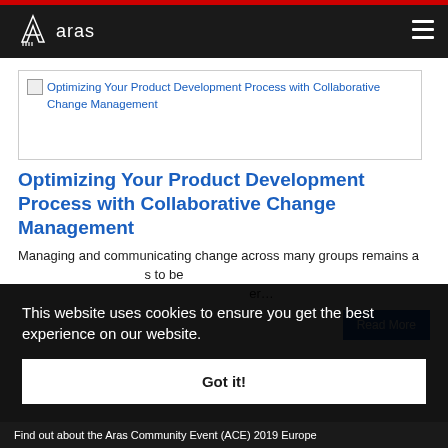aras
[Figure (screenshot): Broken image placeholder for 'Optimizing Your Product Development Process with Collaborative Change Management' banner]
Optimizing Your Product Development Process with Collaborative Change Management
Managing and communicating change across many groups remains a ... s to be er...
This website uses cookies to ensure you get the best experience on our website.
Got it!
Find out about the Aras Community Event (ACE) 2019 Europe